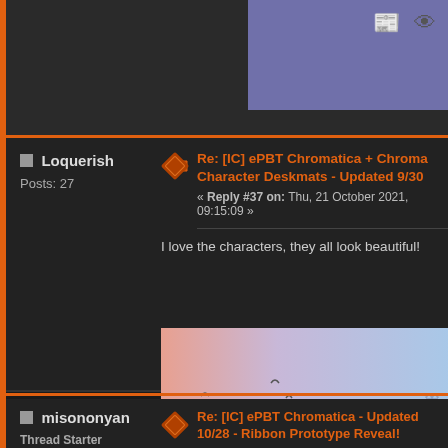[Figure (screenshot): Top dark area with a purple/gray screenshot visible on the right side showing UI icons]
■ Loquerish
Posts: 27
Re: [IC] ePBT Chromatica + Chroma Character Deskmats - Updated 9/30
« Reply #37 on: Thu, 21 October 2021, 09:15:09 »
I love the characters, they all look beautiful!
[Figure (illustration): ePBT Aule banner with pink-to-blue gradient background, clouds, birds, cursive text and cityscape silhouette]
■ misononyan
Thread Starter
[Figure (illustration): Anime character avatar with purple hair and eyes]
Re: [IC] ePBT Chromatica - Updated 10/28 - Ribbon Prototype Reveal!
« Reply #38 on: Thu, 28 October 2021, 16:28:48 »
buuuump
peep ribbon proto
https://i.imgur...